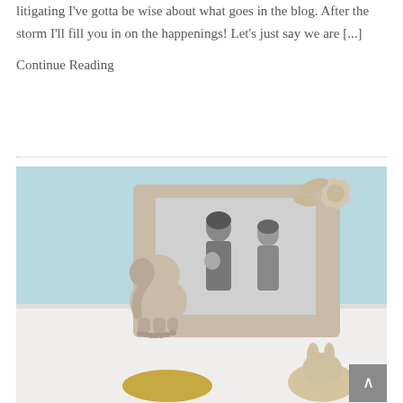litigating I've gotta be wise about what goes in the blog. After the storm I'll fill you in on the happenings! Let's just say we are [...]
Continue Reading
[Figure (photo): A decorative photo frame with floral ornaments and a small elephant figurine sits on a white surface. Inside the frame is a black and white photograph of a family — a man, a woman, and a baby. In the foreground are a smooth oval stone and a small ceramic animal figurine. The background wall is light blue.]